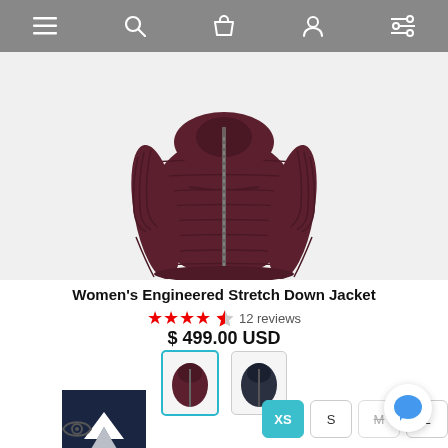[Figure (screenshot): Mobile e-commerce app navigation bar with hamburger menu, search, cart, profile, and filter icons on grey background]
[Figure (photo): Women's dark maroon/burgundy puffer down jacket with grey zipper, quilted panels, on white background]
Women's Engineered Stretch Down Jacket
★★★★½ 12 reviews
$ 499.00 USD
[Figure (screenshot): Two color swatch thumbnails: burgundy jacket (selected, teal border) and dark navy/black jacket]
[Figure (logo): Sync brand logo - dark blue square with white mountain/chevron icon and SYNC text]
XS  S  M  XL  XL size buttons with XS selected
[Figure (screenshot): Blue chat bubble button bottom right]